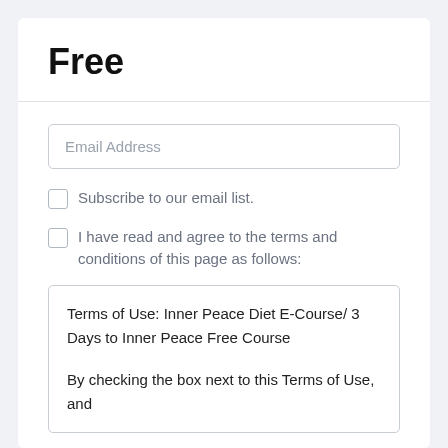Free
Email Address
Subscribe to our email list.
I have read and agree to the terms and conditions of this page as follows:
Terms of Use: Inner Peace Diet E-Course/ 3 Days to Inner Peace Free Course

By checking the box next to this Terms of Use, and